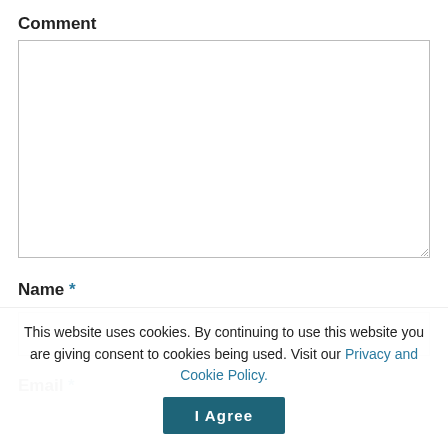Comment
[Figure (screenshot): Empty textarea input box for comment entry]
Name *
[Figure (screenshot): Empty text input box for name entry]
Email *
This website uses cookies. By continuing to use this website you are giving consent to cookies being used. Visit our Privacy and Cookie Policy.
I Agree